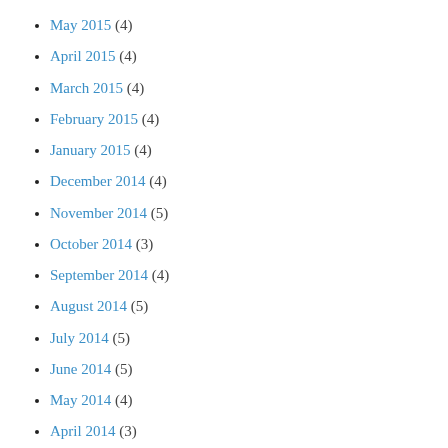May 2015 (4)
April 2015 (4)
March 2015 (4)
February 2015 (4)
January 2015 (4)
December 2014 (4)
November 2014 (5)
October 2014 (3)
September 2014 (4)
August 2014 (5)
July 2014 (5)
June 2014 (5)
May 2014 (4)
April 2014 (3)
March 2014 (3)
February 2014 (5)